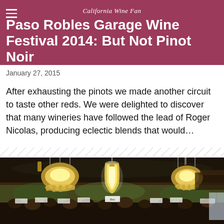California Wine Fan
Paso Robles Garage Wine Festival 2014: But Not Pinot Noir
January 27, 2015
After exhausting the pinots we made another circuit to taste other reds. We were delighted to discover that many wineries have followed the lead of Roger Nicolas, producing eclectic blends that would...
[Figure (photo): Interior of a grand event hall with ornate chandeliers and Art Nouveau-style pendant lamps glowing yellow, decorated ceiling and wall murals, crowd of people attending the wine festival below.]